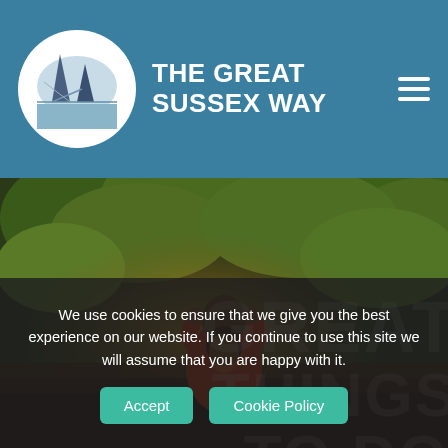THE GREAT SUSSEX WAY
[Figure (photo): Person in red jacket standing with hands behind head, facing away from camera, surrounded by autumn trees with golden light]
We use cookies to ensure that we give you the best experience on our website. If you continue to use this site we will assume that you are happy with it.
Accept
Cookie Policy